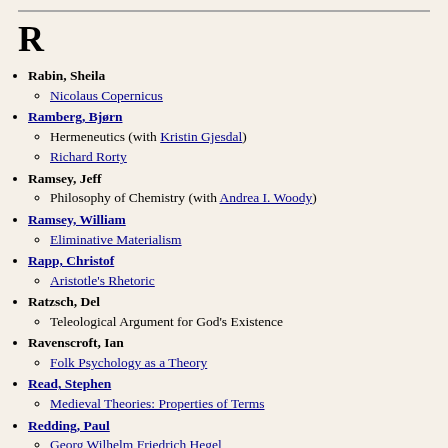R
Rabin, Sheila
  - Nicolaus Copernicus
Ramberg, Bjørn
  - Hermeneutics (with Kristin Gjesdal)
  - Richard Rorty
Ramsey, Jeff
  - Philosophy of Chemistry (with Andrea I. Woody)
Ramsey, William
  - Eliminative Materialism
Rapp, Christof
  - Aristotle's Rhetoric
Ratzsch, Del
  - Teleological Argument for God's Existence
Ravenscroft, Ian
  - Folk Psychology as a Theory
Read, Stephen
  - Medieval Theories: Properties of Terms
Redding, Paul
  - Georg Wilhelm Friedrich Hegel
Reeve, C. D. C.
  - Plato on Friendship and Eros